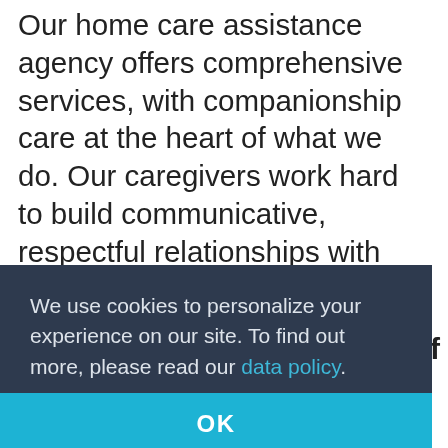Our home care assistance agency offers comprehensive services, with companionship care at the heart of what we do. Our caregivers work hard to build communicative, respectful relationships with our clients to facilitate care with dignity. We match caregivers and clients based not just on needed expertise, but also on humor, hobbies, and personality traits. We have heard time and time again that our caregivers become like family, and that is how we know
We use cookies to personalize your experience on our site. To find out more, please read our data policy.
ety of
OK
struggling with Alzheimer's Disease to